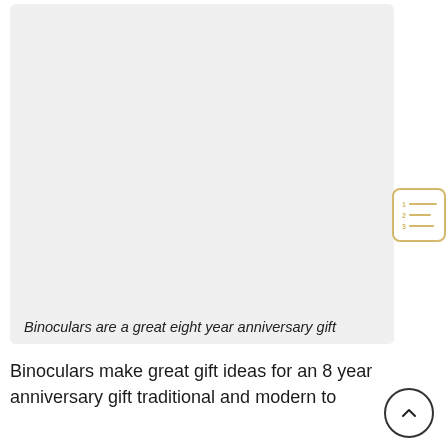[Figure (photo): Light gray placeholder image of binoculars, an eight year anniversary gift]
Binoculars are a great eight year anniversary gift
Binoculars make great gift ideas for an 8 year anniversary gift traditional and modern to